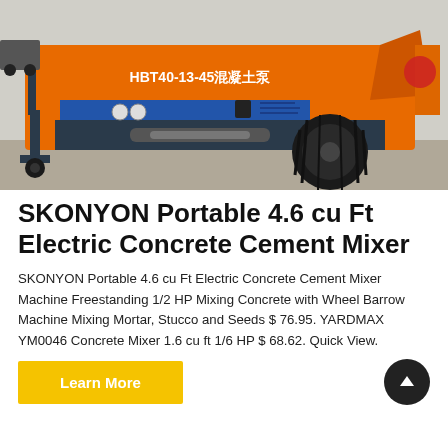[Figure (photo): Orange cement mixer truck/pump labeled HBT40-13-45 on a construction site. The machine is orange and dark blue/grey, with a large wheel visible, on a paved surface.]
SKONYON Portable 4.6 cu Ft Electric Concrete Cement Mixer
SKONYON Portable 4.6 cu Ft Electric Concrete Cement Mixer Machine Freestanding 1/2 HP Mixing Concrete with Wheel Barrow Machine Mixing Mortar, Stucco and Seeds $ 76.95. YARDMAX YM0046 Concrete Mixer 1.6 cu ft 1/6 HP $ 68.62. Quick View.
Learn More